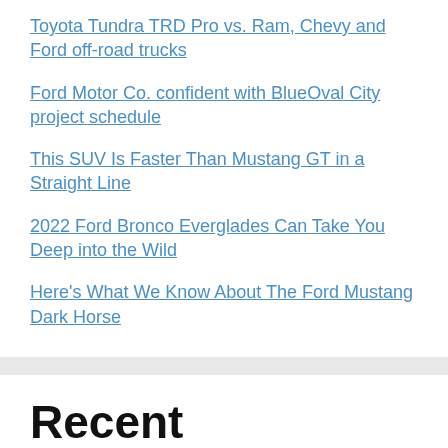Toyota Tundra TRD Pro vs. Ram, Chevy and Ford off-road trucks
Ford Motor Co. confident with BlueOval City project schedule
This SUV Is Faster Than Mustang GT in a Straight Line
2022 Ford Bronco Everglades Can Take You Deep into the Wild
Here's What We Know About The Ford Mustang Dark Horse
Recent Comments
No comments to show.